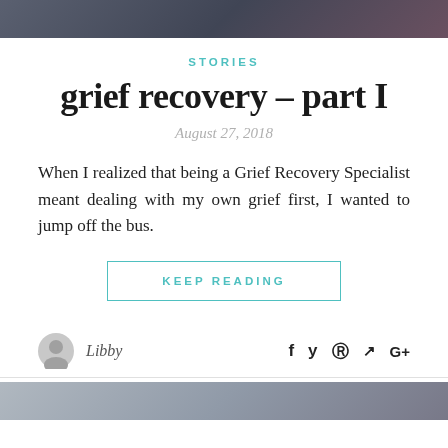[Figure (photo): Top partial image of people, dark toned photograph cropped at top of page]
STORIES
grief recovery – part I
August 27, 2018
When I realized that being a Grief Recovery Specialist meant dealing with my own grief first, I wanted to jump off the bus.
KEEP READING
Libby
[Figure (photo): Bottom partial image, portrait style photograph cropped at bottom of page]